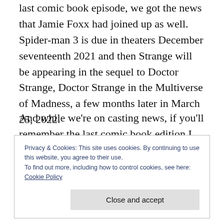last comic book episode, we got the news that Jamie Foxx had joined up as well. Spider-man 3 is due in theaters December seventeenth 2021 and then Strange will be appearing in the sequel to Doctor Strange, Doctor Strange in the Multiverse of Madness, a few months later in March 25, 2022.
And while we're on casting news, if you'll remember the last comic book edition I talked about Tatiana Maslany  being cast as She-Hulk
Privacy & Cookies: This site uses cookies. By continuing to use this website, you agree to their use.
To find out more, including how to control cookies, see here:
Cookie Policy
Close and accept
Obviously you are the new She-Hulk, which is a